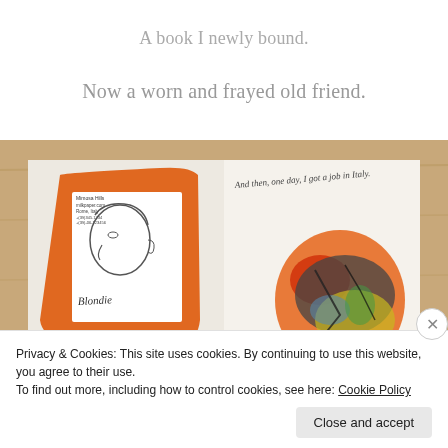A book I newly bound.
Now a worn and frayed old friend.
[Figure (photo): Open book with hand-drawn illustrations on a wooden surface. Left page shows an orange-matted pencil sketch of a face profile with 'Blondie' written in cursive. Right page shows a colorful abstract watercolor illustration with handwritten text at top reading 'And then, one day, I got a job in Italy.']
Privacy & Cookies: This site uses cookies. By continuing to use this website, you agree to their use.
To find out more, including how to control cookies, see here: Cookie Policy
Close and accept